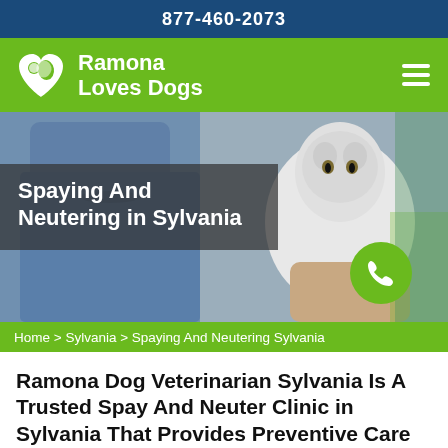877-460-2073
[Figure (logo): Ramona Loves Dogs logo with heart icon and navigation bar]
[Figure (photo): Veterinarian in blue scrubs holding a white cat with owner]
Spaying And Neutering in Sylvania
Home > Sylvania > Spaying And Neutering Sylvania
Ramona Dog Veterinarian Sylvania Is A Trusted Spay And Neuter Clinic in Sylvania That Provides Preventive Care